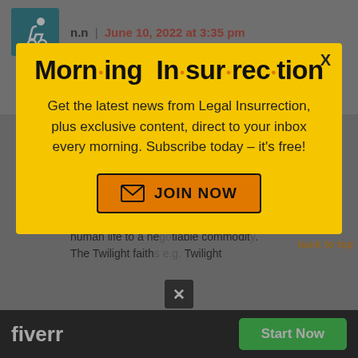n.n | June 10, 2022 at 3:35 pm
And the Ass brayed on… Keep women appointed, available, and taxable.
[Figure (infographic): Morning Insurrection newsletter signup modal popup with yellow background, title 'Morn·ing In·sur·rec·tion', body text about subscribing, and orange JOIN NOW button]
human life to a negotiable commodity. The Twilight faiths e.g. Twilight
back to top
[Figure (infographic): Fiverr advertisement bar at bottom with fiverr logo and Start Now green button, with X close button]